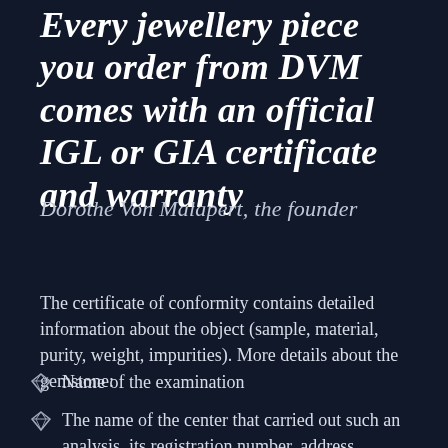Every jewellery piece you order from DVM comes with an official IGL or GIA certificate and warranty
Dorothe Von Malapert, the founder
The certificate of conformity contains detailed information about the object (sample, material, purity, weight, impurities). More details about the gemstone:
Name of the examination
The name of the center that carried out such an analysis, its registration number, address,